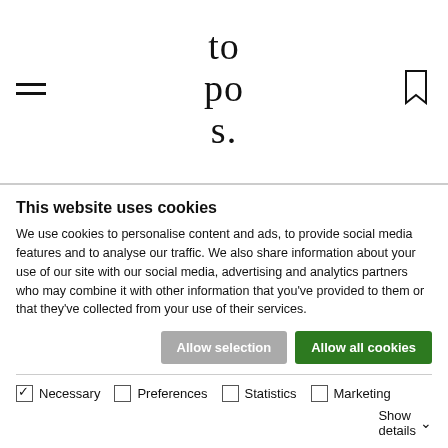topos.
CURRENTS
Flash floods in Australia
This website uses cookies
We use cookies to personalise content and ads, to provide social media features and to analyse our traffic. We also share information about your use of our site with our social media, advertising and analytics partners who may combine it with other information that you've provided to them or that they've collected from your use of their services.
Allow selection  Allow all cookies
Necessary  Preferences  Statistics  Marketing  Show details